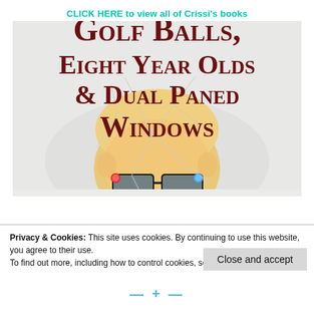CLICK HERE to view all of Crissi's books
[Figure (photo): Book cover for 'Golf Balls, Eight Year Olds & Dual Paned Windows' showing a young child with blonde hair and large-framed glasses peeking up from the bottom, with a cracked glass overlay effect on the image. The title text is displayed in large dark red small-caps serif font over the image.]
Privacy & Cookies: This site uses cookies. By continuing to use this website, you agree to their use.
To find out more, including how to control cookies, see here: Cookie Policy
Close and accept